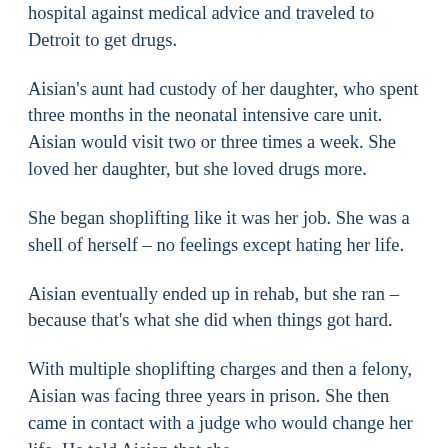hospital against medical advice and traveled to Detroit to get drugs.
Aisian's aunt had custody of her daughter, who spent three months in the neonatal intensive care unit. Aisian would visit two or three times a week. She loved her daughter, but she loved drugs more.
She began shoplifting like it was her job. She was a shell of herself – no feelings except hating her life.
Aisian eventually ended up in rehab, but she ran – because that's what she did when things got hard.
With multiple shoplifting charges and then a felony, Aisian was facing three years in prison. She then came in contact with a judge who would change her life. He told Aisian that she